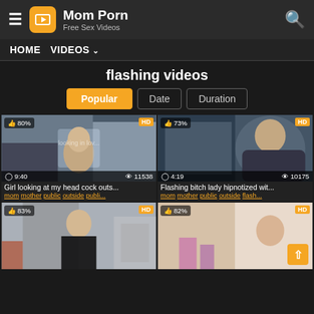Mom Porn – Free Sex Videos
HOME  VIDEOS
flashing videos
Popular | Date | Duration
[Figure (screenshot): Video thumbnail: Girl looking at my head cock outs... 80% thumbs up, 9:40 duration, 11538 views, HD badge. Watermark: looking in lov...]
Girl looking at my head cock outs...
mom mother public outside publi...
[Figure (screenshot): Video thumbnail: Flashing bitch lady hipnotized wit... 73% thumbs up, 4:19 duration, 10175 views, HD badge.]
Flashing bitch lady hipnotized wit...
mom mother public outside flash...
[Figure (screenshot): Video thumbnail: 83% thumbs up, HD badge. Woman in black sheer top on street.]
[Figure (screenshot): Video thumbnail: 82% thumbs up, HD badge. Indoor scene.]